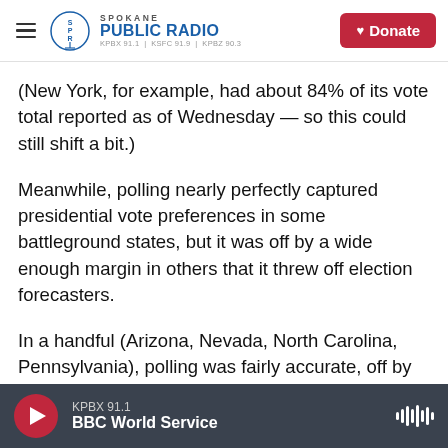Spokane Public Radio — KPBX 91.1 | KSFC 91.9 | KPBZ 90.3
(New York, for example, had about 84% of its vote total reported as of Wednesday — so this could still shift a bit.)
Meanwhile, polling nearly perfectly captured presidential vote preferences in some battleground states, but it was off by a wide enough margin in others that it threw off election forecasters.
In a handful (Arizona, Nevada, North Carolina, Pennsylvania), polling was fairly accurate, off by around a point or even less.
KPBX 91.1 — BBC World Service